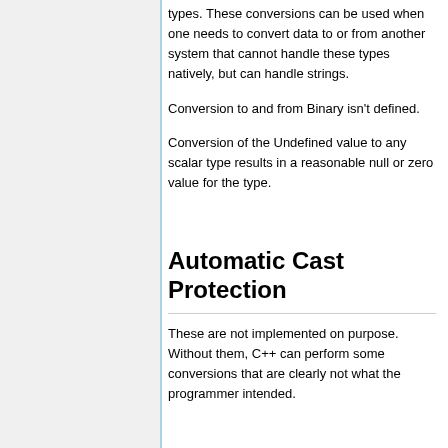types. These conversions can be used when one needs to convert data to or from another system that cannot handle these types natively, but can handle strings.
Conversion to and from Binary isn't defined.
Conversion of the Undefined value to any scalar type results in a reasonable null or zero value for the type.
Automatic Cast Protection
These are not implemented on purpose. Without them, C++ can perform some conversions that are clearly not what the programmer intended.